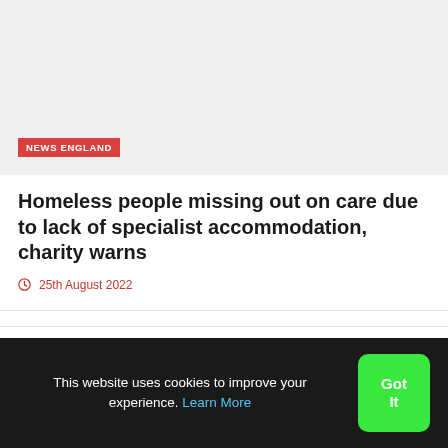[Figure (photo): Article thumbnail image area with light grey background]
NEWS ENGLAND
Homeless people missing out on care due to lack of specialist accommodation, charity warns
25th August 2022
Advertising
This website uses cookies to improve your experience. Learn More
Got It